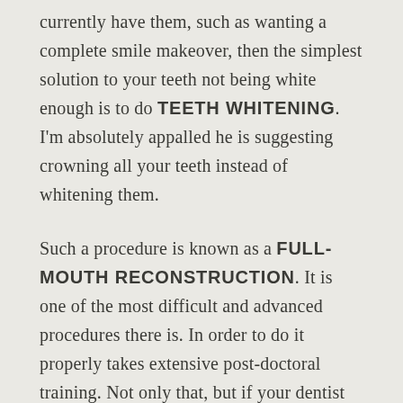currently have them, such as wanting a complete smile makeover, then the simplest solution to your teeth not being white enough is to do TEETH WHITENING. I'm absolutely appalled he is suggesting crowning all your teeth instead of whitening them.
Such a procedure is known as a FULL-MOUTH RECONSTRUCTION. It is one of the most difficult and advanced procedures there is. In order to do it properly takes extensive post-doctoral training. Not only that, but if your dentist doesn't do it correctly, it can completely throw off your bite leaving you with painful TMJ Disorder.
Here is my suggestion. If you just want to replace...